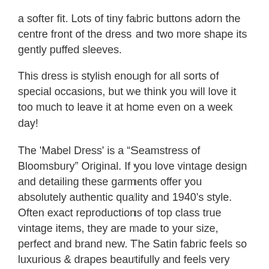a softer fit. Lots of tiny fabric buttons adorn the centre front of the dress and two more shape its gently puffed sleeves.
This dress is stylish enough for all sorts of special occasions, but we think you will love it too much to leave it at home even on a week day!
The 'Mabel Dress' is a “Seamstress of Bloomsbury” Original. If you love vintage design and detailing these garments offer you absolutely authentic quality and 1940’s style. Often exact reproductions of top class true vintage items, they are made to your size, perfect and brand new. The Satin fabric feels so luxurious & drapes beautifully and feels very much like silk, however, it is easy to care for and can be hand washed or even machine washed on a delicate cycle.
Quick International Size Conversion Guide: